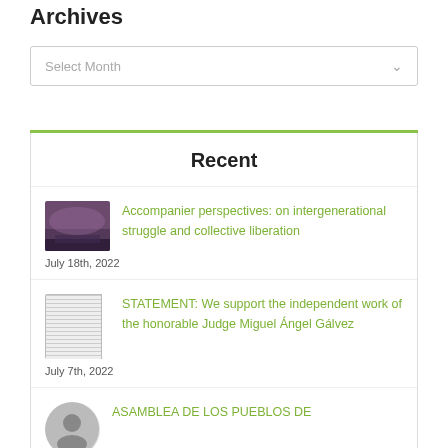Archives
Select Month
Recent
Accompanier perspectives: on intergenerational struggle and collective liberation
July 18th, 2022
STATEMENT: We support the independent work of the honorable Judge Miguel Ángel Gálvez
July 7th, 2022
ASAMBLEA DE LOS PUEBLOS DE